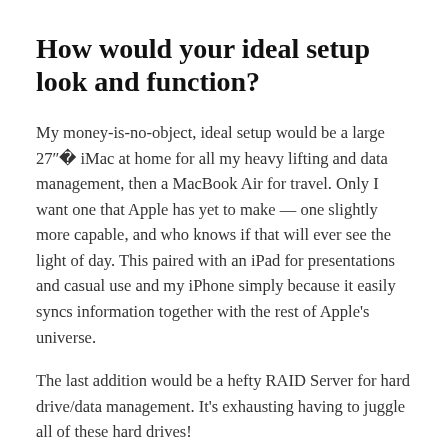How would your ideal setup look and function?
My money-is-no-object, ideal setup would be a large 27″ iMac at home for all my heavy lifting and data management, then a MacBook Air for travel. Only I want one that Apple has yet to make — one slightly more capable, and who knows if that will ever see the light of day. This paired with an iPad for presentations and casual use and my iPhone simply because it easily syncs information together with the rest of Apple's universe.
The last addition would be a hefty RAID Server for hard drive/data management. It's exhausting having to juggle all of these hard drives!
Also, an oversized desk with plenty of workspace would be nice. One that I could build a light table into. I like the